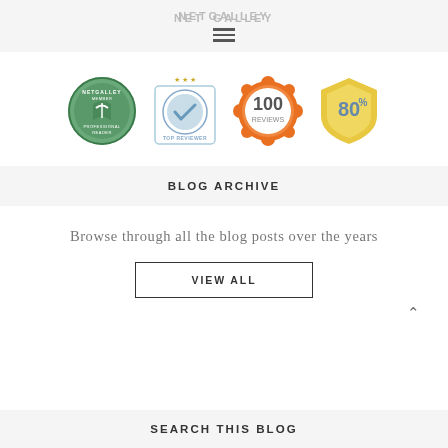NETGALLEY
[Figure (logo): Four NetGalley badge icons: NetGalley Member Professional Reader badge (circular, green/blue), Top Reviewer badge (circular with stars, blue), 100 Reviews badge (orange flower-shaped), 80% badge (yellow shield shape)]
BLOG ARCHIVE
Browse through all the blog posts over the years
VIEW ALL
SEARCH THIS BLOG